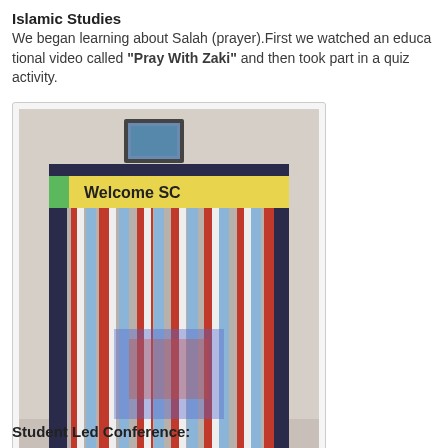Islamic Studies
We began learning about Salah (prayer).First we watched an educational video called "Pray With Zaki" and then took part in a quiz activity.
[Figure (photo): A classroom doorway decorated with red, white, and blue streamers hanging down, with a yellow sign reading 'Welcome SC' above the streamers and a framed picture mounted on the wall above.]
Student Led Conference: